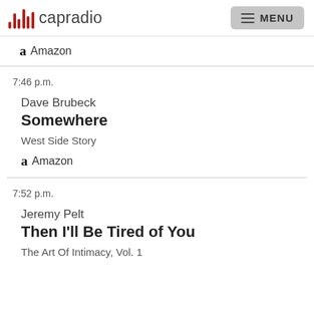capradio  MENU
Amazon
7:46 p.m.
Dave Brubeck
Somewhere
West Side Story
Amazon
7:52 p.m.
Jeremy Pelt
Then I'll Be Tired of You
The Art Of Intimacy, Vol. 1